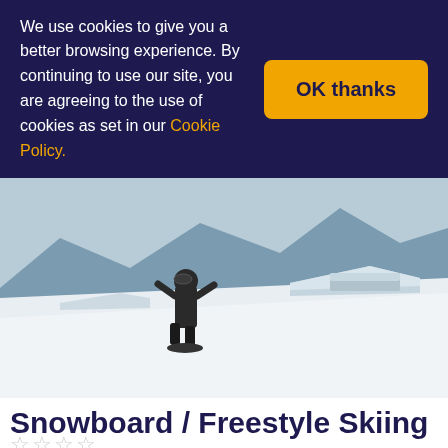We use cookies to give you a better browsing experience. By continuing to use our site, you are agreeing to the use of cookies as set in our Cookie Policy.
OK thanks
[Figure (photo): A snowboarder standing on a snowy slope with snow park features (kickers and boxes) in the background and mountains visible in the distance.]
Snowboard / Freestyle Skiing